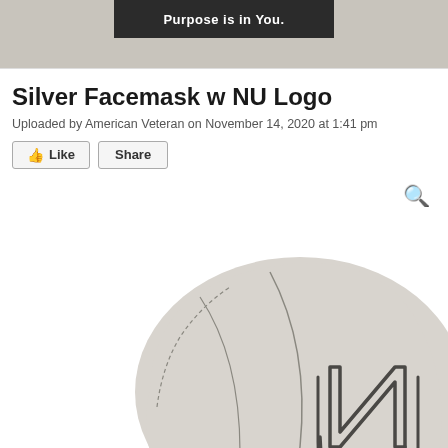[Figure (screenshot): Dark banner strip at top of page with text 'Purpose is in You.' in white on dark background, over a gray background area]
Silver Facemask w NU Logo
Uploaded by American Veteran on November 14, 2020 at 1:41 pm
[Figure (photo): Silver facemask with NU logo design, shown at an angle with black cord/strap, on white background]